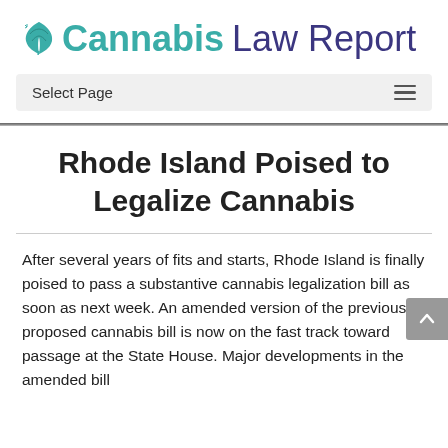Cannabis Law Report
Select Page
Rhode Island Poised to Legalize Cannabis
After several years of fits and starts, Rhode Island is finally poised to pass a substantive cannabis legalization bill as soon as next week. An amended version of the previously-proposed cannabis bill is now on the fast track toward passage at the State House. Major developments in the amended bill include the state's assessment for revenue sharing and tax